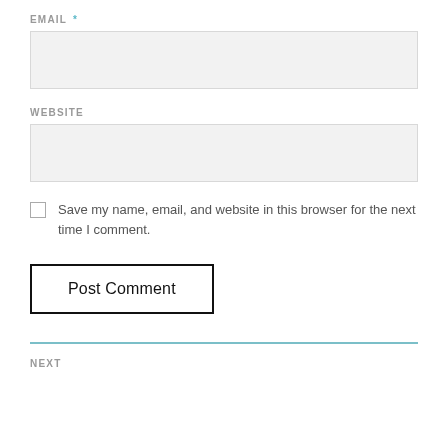EMAIL *
[Figure (other): Email input field, empty, light grey background]
WEBSITE
[Figure (other): Website input field, empty, light grey background]
Save my name, email, and website in this browser for the next time I comment.
Post Comment
NEXT